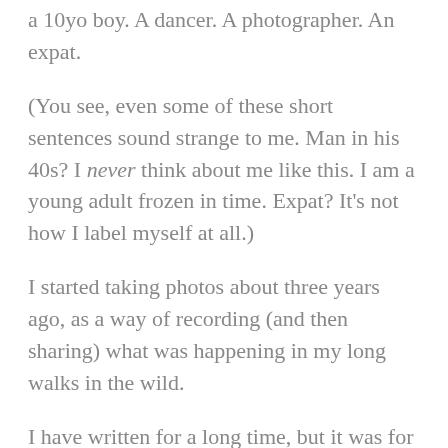a 10yo boy. A dancer. A photographer. An expat.
(You see, even some of these short sentences sound strange to me. Man in his 40s? I never think about me like this. I am a young adult frozen in time. Expat? It’s not how I label myself at all.)
I started taking photos about three years ago, as a way of recording (and then sharing) what was happening in my long walks in the wild.
I have written for a long time, but it was for an audience of one: myself. Journaling my life. I